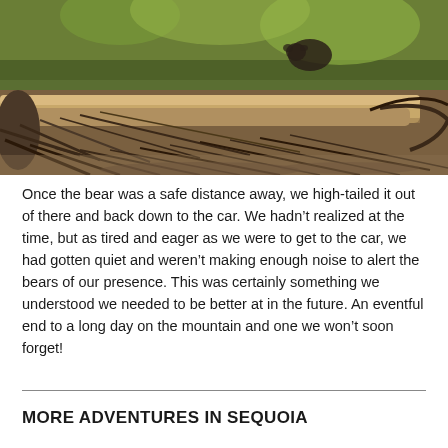[Figure (photo): Outdoor nature photo showing fallen logs with tangled roots and branches in a forest setting, with a bear visible in the background among green foliage.]
Once the bear was a safe distance away, we high-tailed it out of there and back down to the car. We hadn't realized at the time, but as tired and eager as we were to get to the car, we had gotten quiet and weren't making enough noise to alert the bears of our presence. This was certainly something we understood we needed to be better at in the future. An eventful end to a long day on the mountain and one we won't soon forget!
MORE ADVENTURES IN SEQUOIA